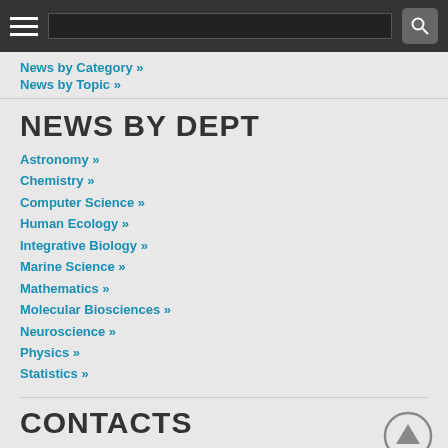Navigation bar with hamburger menu and search
News by Category »
News by Topic »
NEWS BY DEPT
Astronomy »
Chemistry »
Computer Science »
Human Ecology »
Integrative Biology »
Marine Science »
Mathematics »
Molecular Biosciences »
Neuroscience »
Physics »
Statistics »
CONTACTS
Christine Sinatra »
Marc Airhart